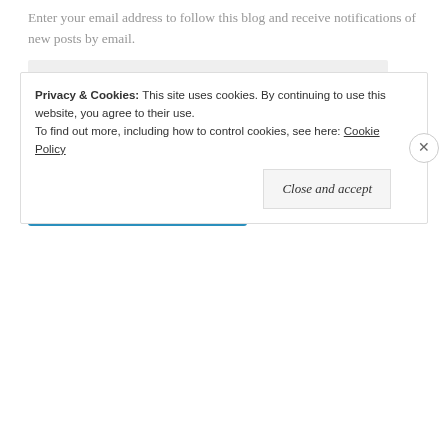Enter your email address to follow this blog and receive notifications of new posts by email.
Enter your email address
Follow things I make
Follow Still Feeling Peckish
Privacy & Cookies: This site uses cookies. By continuing to use this site, you agree to their use. To find out more, including how to control cookies, see here: Cookie Policy
Close and accept